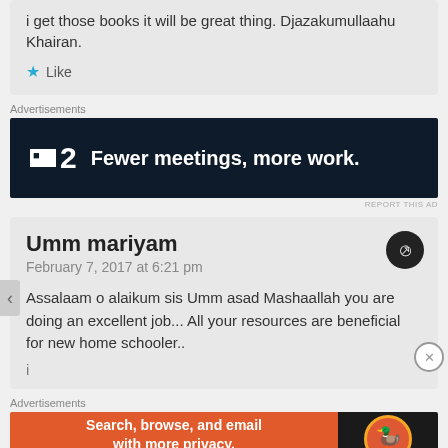i get those books it will be great thing. Djazakumullaahu Khairan.
Like
Advertisements
[Figure (screenshot): Dark advertisement banner for a productivity tool showing logo '■2' and tagline 'Fewer meetings, more work.']
REPORT THIS AD
Umm mariyam
February 7, 2017 at 6:21 pm
Assalaam o alaikum sis Umm asad Mashaallah you are doing an excellent job... All your resources are beneficial for new home schooler..
Advertisements
[Figure (screenshot): DuckDuckGo advertisement: orange section 'Search, browse, and email with more privacy. All in One Free App' and dark section with DuckDuckGo logo.]
REPORT THIS AD